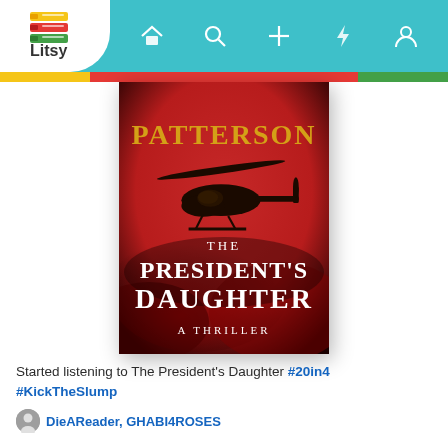[Figure (screenshot): Litsy app screenshot showing navigation bar with logo, home, search, add, flash, and profile icons on a teal background with color stripes below]
[Figure (photo): Book cover for 'The President's Daughter' by Patterson - red background with helicopter silhouette, gold author name, white title text, subtitle 'A Thriller']
Started listening to The President's Daughter #20in4 #KickTheSlump
DieAReader, GHABI4ROSES